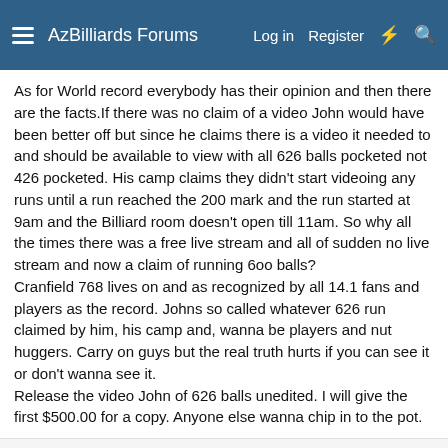AzBilliards Forums  Log in  Register
As for World record everybody has their opinion and then there are the facts.If there was no claim of a video John would have been better off but since he claims there is a video it needed to and should be available to view with all 626 balls pocketed not 426 pocketed. His camp claims they didn't start videoing any runs until a run reached the 200 mark and the run started at 9am and the Billiard room doesn't open till 11am. So why all the times there was a free live stream and all of sudden no live stream and now a claim of running 6oo balls?
Cranfield 768 lives on and as recognized by all 14.1 fans and players as the record. Johns so called whatever 626 run claimed by him, his camp and, wanna be players and nut huggers. Carry on guys but the real truth hurts if you can see it or don't wanna see it.
Release the video John of 626 balls unedited. I will give the first $500.00 for a copy. Anyone else wanna chip in to the pot.
Black-Balled
AzB Silver Member  Silver Member